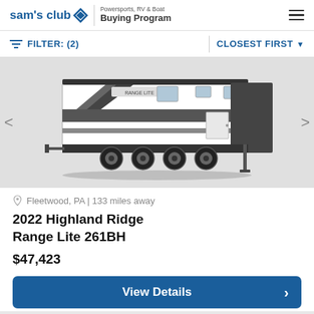sam's club Powersports, RV & Boat Buying Program
FILTER: (2)   CLOSEST FIRST
[Figure (photo): Side view of a 2022 Highland Ridge Range Lite 261BH travel trailer RV, white and black exterior, dual axle, visible stabilizer jack]
Fleetwood, PA | 133 miles away
2022 Highland Ridge Range Lite 261BH
$47,423
View Details